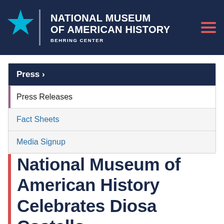NATIONAL MUSEUM OF AMERICAN HISTORY BEHRING CENTER
Press >
Press Releases
Fact Sheets
Media Signup
National Museum of American History Celebrates Diosa Costello